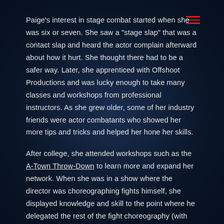Paige's interest in stage combat started when she was six or seven. She saw a "stage slap" that was a contact slap and heard the actor complain afterward about how it hurt. She thought there had to be a safer way. Later, she apprenticed with Offshoot Productions and was lucky enough to take many classes and workshops from professional instructors. As she grew older, some of her industry friends were actor combatants who showed her more tips and tricks and helped her hone her skills.
After college, she attended workshops such as the A-Town Throw-Down to learn more and expand her network. When she was in a show where the director was choreographing fights himself, she displayed knowledge and skill to the point where he delegated the rest of the fight choreography (with rapiers) to her. Though she was reluctant at first, and she called for reinforcements (thank you, Jay Peterson!), that launched her into a sub-career as a fight choreographer. Now she loves it.